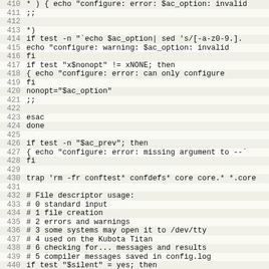[Figure (screenshot): Source code listing (shell script / configure script) showing lines 410-442, with alternating light gray row highlighting and line numbers on the left. Code includes case statement handling, test conditions, trap command, and file descriptor usage comments.]